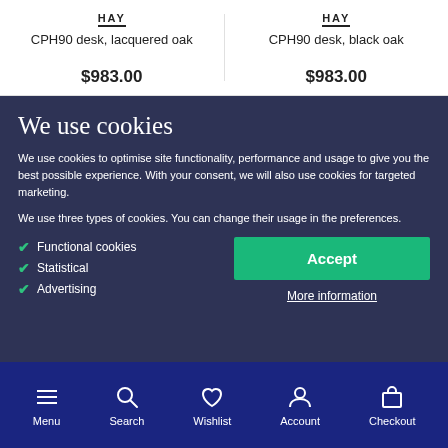HAY — CPH90 desk, lacquered oak — $983.00
HAY — CPH90 desk, black oak — $983.00
We use cookies
We use cookies to optimise site functionality, performance and usage to give you the best possible experience. With your consent, we will also use cookies for targeted marketing.
We use three types of cookies. You can change their usage in the preferences.
Functional cookies
Statistical
Advertising
Accept
More information
Menu | Search | Wishlist | Account | Checkout